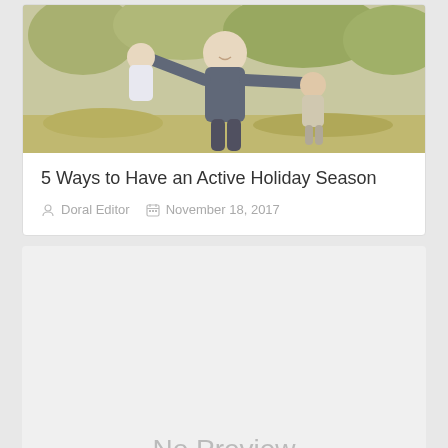[Figure (photo): A man playing with two children outdoors in an autumn setting with trees and fallen leaves in the background.]
5 Ways to Have an Active Holiday Season
Doral Editor   November 18, 2017
[Figure (other): No Preview placeholder box with light gray background]
3480